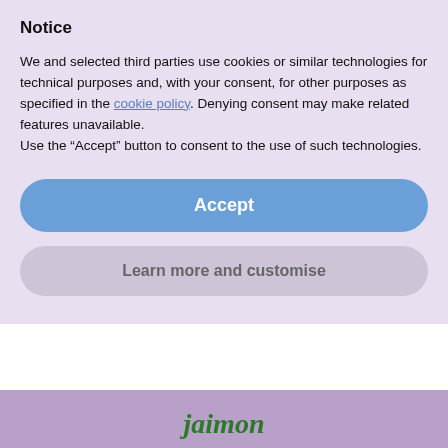Notice
We and selected third parties use cookies or similar technologies for technical purposes and, with your consent, for other purposes as specified in the cookie policy. Denying consent may make related features unavailable.
Use the “Accept” button to consent to the use of such technologies.
[Figure (screenshot): Accept button - blue rounded rectangle button with white text 'Accept']
[Figure (screenshot): Learn more and customise button - grey rounded rectangle button]
[Figure (illustration): Purple/mauve horizontal band background section]
[Figure (logo): Partial green italic serif logo text at bottom of page reading 'jaimon' or similar]